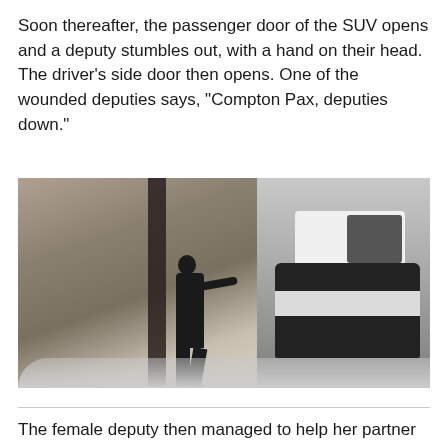Soon thereafter, the passenger door of the SUV opens and a deputy stumbles out, with a hand on their head. The driver's side door then opens. One of the wounded deputies says, "Compton Pax, deputies down."
[Figure (photo): A blurry security camera screenshot showing a person in dark clothing with arm extended toward a black-and-white police SUV. The scene appears to be a shooting incident.]
The female deputy then managed to help her partner